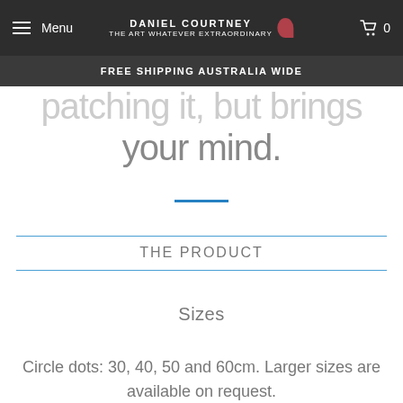Menu | DANIEL COURTNEY | 0
FREE SHIPPING AUSTRALIA WIDE
the wall you need patching it, but brings your mind.
THE PRODUCT
Sizes
Circle dots: 30, 40, 50 and 60cm. Larger sizes are available on request.